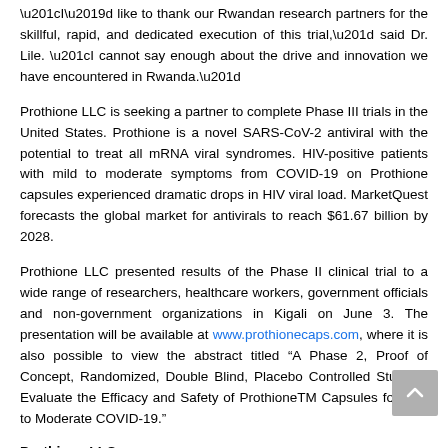“I’d like to thank our Rwandan research partners for the skillful, rapid, and dedicated execution of this trial,” said Dr. Lile. “I cannot say enough about the drive and innovation we have encountered in Rwanda.”
Prothione LLC is seeking a partner to complete Phase III trials in the United States. Prothione is a novel SARS-CoV-2 antiviral with the potential to treat all mRNA viral syndromes. HIV-positive patients with mild to moderate symptoms from COVID-19 on Prothione capsules experienced dramatic drops in HIV viral load. MarketQuest forecasts the global market for antivirals to reach $61.67 billion by 2028.
Prothione LLC presented results of the Phase II clinical trial to a wide range of researchers, healthcare workers, government officials and non-government organizations in Kigali on June 3. The presentation will be available at www.prothionecaps.com, where it is also possible to view the abstract titled “A Phase 2, Proof of Concept, Randomized, Double Blind, Placebo Controlled Study to Evaluate the Efficacy and Safety of ProthioneTM Capsules for Mild to Moderate COVID-19.”
Prothione LLC
Prothione LLC is an innovative pharmaceutical company based in Franklin, Tennessee. The company is committed to the science of innate health that